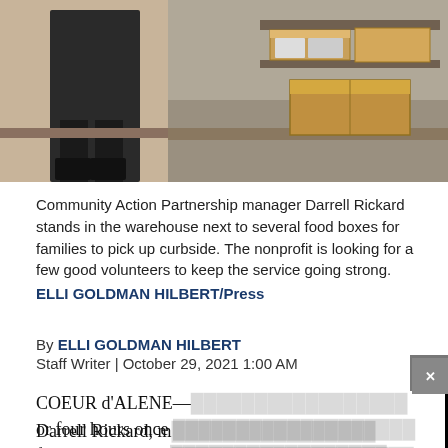[Figure (photo): Community Action Partnership manager Darrell Rickard standing in a warehouse next to food boxes for curbside pickup. The image shows a person in black clothing next to shelving and cardboard boxes with food items.]
Community Action Partnership manager Darrell Rickard stands in the warehouse next to several food boxes for families to pick up curbside. The nonprofit is looking for a few good volunteers to keep the service going strong. ELLI GOLDMAN HILBERT/Press
By ELLI GOLDMAN HILBERT
Staff Writer | October 29, 2021 1:00 AM
COEUR d'ALENE— or four hours once four committed vo
Darrell Rickard, ma Action Partnership